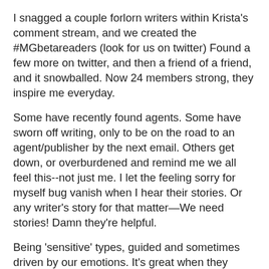I snagged a couple forlorn writers within Krista's comment stream, and we created the #MGbetareaders (look for us on twitter) Found a few more on twitter, and then a friend of a friend, and it snowballed. Now 24 members strong, they inspire me everyday.
Some have recently found agents. Some have sworn off writing, only to be on the road to an agent/publisher by the next email. Others get down, or overburdened and remind me we all feel this--not just me. I let the feeling sorry for myself bug vanish when I hear their stories. Or any writer's story for that matter—We need stories! Damn they're helpful.
Being 'sensitive' types, guided and sometimes driven by our emotions. It's great when they check in with their fears, hopes-- and contests to share!
Love each and every one of you: Akoss, Ella, Becky, Melanie, Jean, Jennifer, Annie, April, Ashley, Chris, Jeff, Devon, Dana, Jay, Heidi, Ki-wing, Paul, Gail, Rebecca, Rebekah, Rebecca, and Ronnie--an Awesome, Amazing, and Generous team. Go Team! Some are rocking the